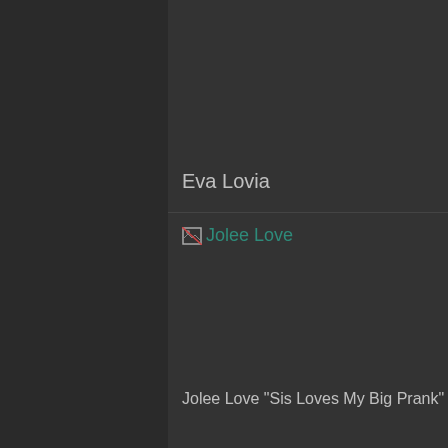Eva Lovia
[Figure (screenshot): Broken image placeholder showing 'Jolee Love' as teal/green link text with a broken image icon]
Jolee Love "Sis Loves My Big Prank" VR porn video @VirtualTaboo 🎬